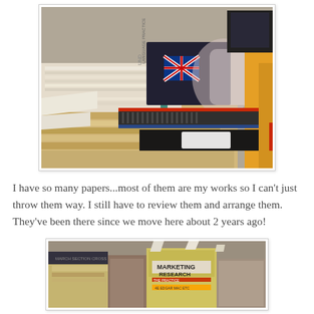[Figure (photo): A messy pile of papers, folders, binders, and books stacked on a desk or shelf. A book with a British flag is visible among the stack.]
I have so many papers...most of them are my works so I can't just throw them way. I still have to review them and arrange them. They've been there since we move here about 2 years ago!
[Figure (photo): A shelf or surface with stacked books, one prominently labeled 'MARKETING RESEARCH'.]